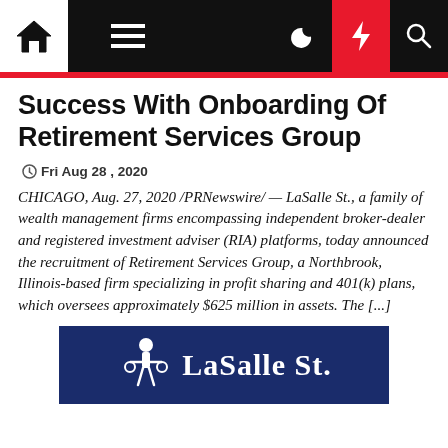Navigation bar with home, menu, moon, bolt, and search icons
Success With Onboarding Of Retirement Services Group
Fri Aug 28 , 2020
CHICAGO, Aug. 27, 2020 /PRNewswire/ — LaSalle St., a family of wealth management firms encompassing independent broker-dealer and registered investment adviser (RIA) platforms, today announced the recruitment of Retirement Services Group, a Northbrook, Illinois-based firm specializing in profit sharing and 401(k) plans, which oversees approximately $625 million in assets. The [...]
[Figure (logo): LaSalle St. logo on dark navy blue background with white figure/scale icon and white text reading LaSalle St]